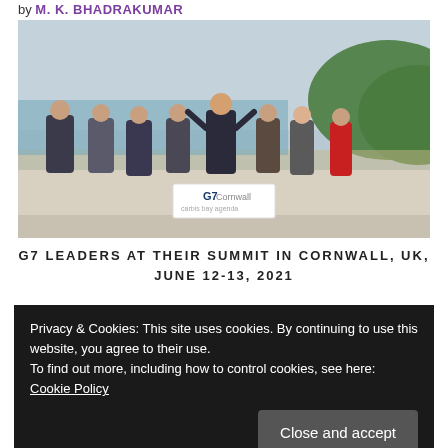by M. K. BHADRAKUMAR
[Figure (photo): Group photo of G7 leaders standing on steps at their summit in Cornwall, UK. Eight leaders are visible with a sandy beach and green hillside in background. A G7 Cornwall sign is visible in front.]
G7 LEADERS AT THEIR SUMMIT IN CORNWALL, UK, JUNE 12-13, 2021
Privacy & Cookies: This site uses cookies. By continuing to use this website, you agree to their use.
To find out more, including how to control cookies, see here: Cookie Policy
Close and accept
Helmut Schmidt to discuss the world economy and